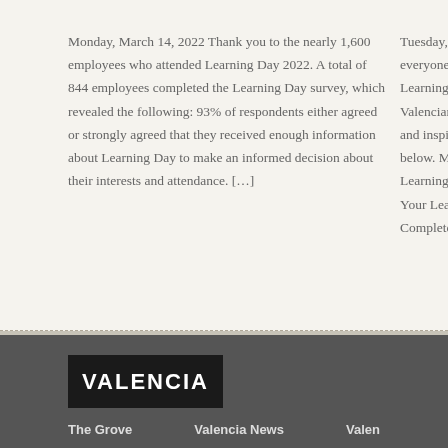Monday, March 14, 2022 Thank you to the nearly 1,600 employees who attended Learning Day 2022. A total of 844 employees completed the Learning Day survey, which revealed the following: 93% of respondents either agreed or strongly agreed that they received enough information about Learning Day to make an informed decision about their interests and attendance. […]
Tuesday, Febr… everyone who … Learning Day e… Valencians spe… and inspiring o… below. More fre… Learning Day P… Your Learning … Complete Your…
[Figure (logo): Valencia College logo — white serif text 'VALENCIA' on black background]
The Grove   Valencia News   Valen…